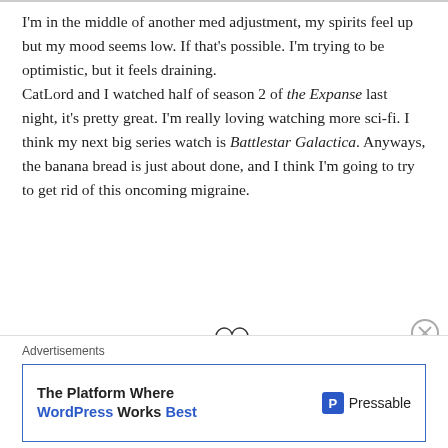I'm in the middle of another med adjustment, my spirits feel up but my mood seems low. If that's possible. I'm trying to be optimistic, but it feels draining. CatLord and I watched half of season 2 of the Expanse last night, it's pretty great. I'm really loving watching more sci-fi. I think my next big series watch is Battlestar Galactica. Anyways, the banana bread is just about done, and I think I'm going to try to get rid of this oncoming migraine.
[Figure (illustration): A hand-drawn signature reading 'shaiden' in cursive script with a small heart outline, alongside a cartoon illustration of a person's face with dark hair]
Advertisements
The Platform Where WordPress Works Best — Pressable